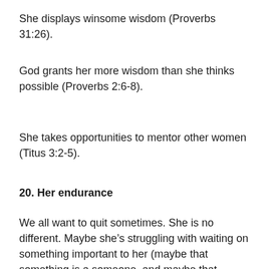She displays winsome wisdom (Proverbs 31:26).
God grants her more wisdom than she thinks possible (Proverbs 2:6-8).
She takes opportunities to mentor other women (Titus 3:2-5).
20. Her endurance
We all want to quit sometimes. She is no different. Maybe she’s struggling with waiting on something important to her (maybe that something is a someone, and maybe that someone is you). Perhaps she wrestles with impatience and has